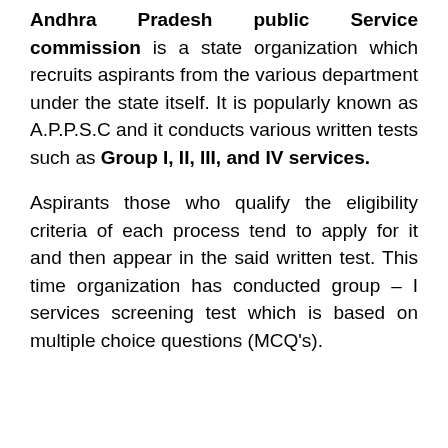Andhra Pradesh public Service commission is a state organization which recruits aspirants from the various department under the state itself. It is popularly known as A.P.P.S.C and it conducts various written tests such as Group I, II, III, and IV services.
Aspirants those who qualify the eligibility criteria of each process tend to apply for it and then appear in the said written test. This time organization has conducted group – I services screening test which is based on multiple choice questions (MCQ's).